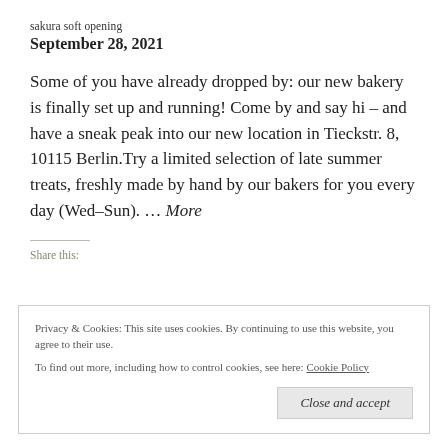sakura soft opening
September 28, 2021
Some of you have already dropped by: our new bakery is finally set up and running! Come by and say hi – and have a sneak peak into our new location in Tieckstr. 8, 10115 Berlin.Try a limited selection of late summer treats, freshly made by hand by our bakers for you every day (Wed-Sun). … More
Share this:
Privacy & Cookies: This site uses cookies. By continuing to use this website, you agree to their use.
To find out more, including how to control cookies, see here: Cookie Policy
Close and accept